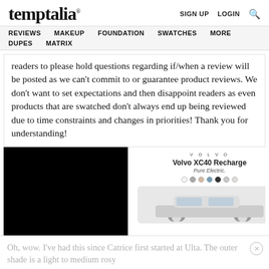temptalia® SIGN UP LOGIN 🔍
REVIEWS MAKEUP FOUNDATION SWATCHES MORE DUPES MATRIX
readers to please hold questions regarding if/when a review will be posted as we can't commit to or guarantee product reviews. We don't want to set expectations and then disappoint readers as even products that are swatched don't always end up being reviewed due to time constraints and changes in priorities! Thank you for understanding!
[Figure (photo): Advertisement for Volvo XC40 Recharge Pure Electric showing car with color selector dots, black panels flanking the ad]
ARE CLOSED.
Oh, wow. I've had this since Catrice first started at Ulta. The outer shade is a light to medium rosy